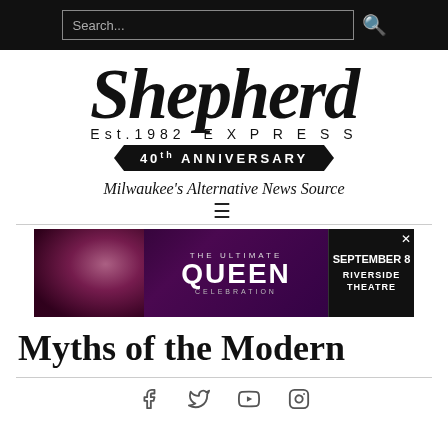Search...
[Figure (logo): Shepherd Express logo — large italic 'Shepherd', 'Est.1982 EXPRESS' below, '40th ANNIVERSARY' banner, 'Milwaukee's Alternative News Source' tagline]
[Figure (infographic): Advertisement: The Ultimate Queen Celebration, September 8, Riverside Theatre]
Myths of the Modern
[Figure (infographic): Social media icons: Facebook, Twitter, YouTube, Instagram]